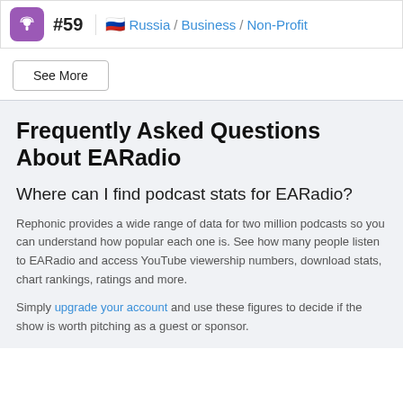#59  Russia / Business / Non-Profit
See More
Frequently Asked Questions About EARadio
Where can I find podcast stats for EARadio?
Rephonic provides a wide range of data for two million podcasts so you can understand how popular each one is. See how many people listen to EARadio and access YouTube viewership numbers, download stats, chart rankings, ratings and more.
Simply upgrade your account and use these figures to decide if the show is worth pitching as a guest or sponsor.